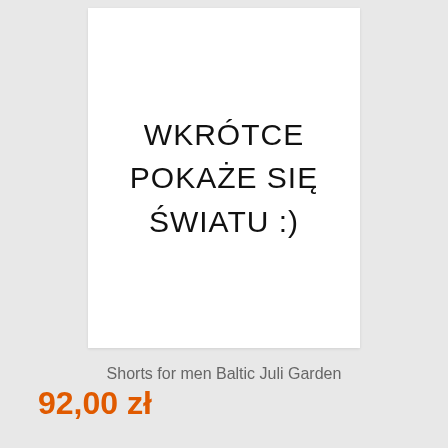[Figure (other): White rectangular placeholder image with Polish text 'WKRÓTCE POKAŻE SIĘ ŚWIATU :)' centered in black sans-serif font]
Shorts for men Baltic Juli Garden
92,00 zł